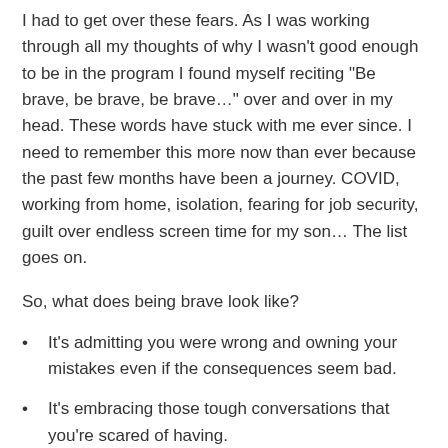I had to get over these fears. As I was working through all my thoughts of why I wasn't good enough to be in the program I found myself reciting "Be brave, be brave, be brave…" over and over in my head. These words have stuck with me ever since. I need to remember this more now than ever because the past few months have been a journey. COVID, working from home, isolation, fearing for job security, guilt over endless screen time for my son… The list goes on.
So, what does being brave look like?
It's admitting you were wrong and owning your mistakes even if the consequences seem bad.
It's embracing those tough conversations that you're scared of having.
It's sharing your idea in a room full of people you believe